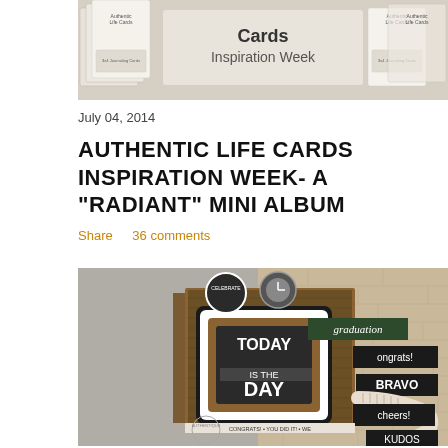[Figure (photo): Banner image showing 'Authentic Life Cards Inspiration Week' with card product photos on a beige/grey background]
July 04, 2014
AUTHENTIC LIFE CARDS INSPIRATION WEEK- A "RADIANT" MINI ALBUM
Share    36 comments
[Figure (photo): Photo of a handmade mini album/scrapbook with chalkboard-style card reading 'TODAY IS THE DAY', decorated with graduation themed elements, black and kraft colors, with text labels 'CELEBRATE', 'graduation', 'Congrats!', 'BRAVO', 'cheers!', 'KUDOS', 'CONGRATS! YOU DID IT!']